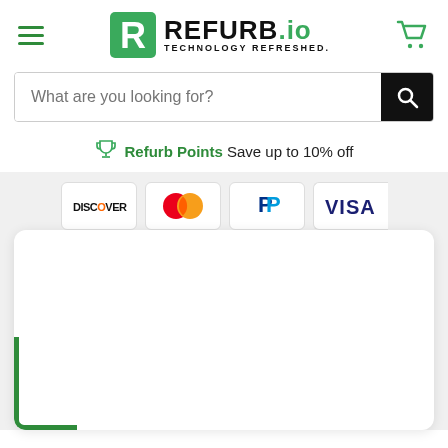[Figure (logo): REFURB.io logo with green R icon and text TECHNOLOGY REFRESHED.]
What are you looking for?
Refurb Points Save up to 10% off
[Figure (infographic): Payment method icons: Discover, Mastercard, PayPal, Visa]
[Figure (screenshot): White card content area with green corner accent at bottom left]